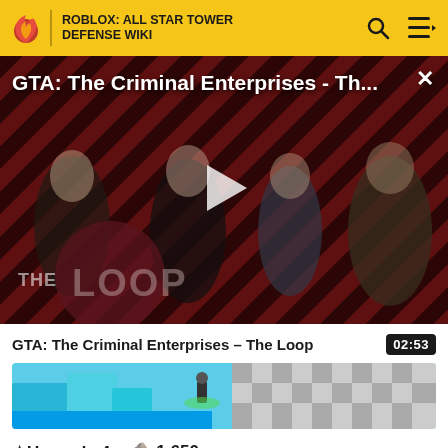ROBLOX: ALL STAR TOWER DEFENSE WIKI
[Figure (screenshot): Video thumbnail for GTA: The Criminal Enterprises - The Loop, showing game characters on a diagonal red and black striped background with THE LOOP logo overlay and a play button in the center. A close (X) button is in the top right.]
GTA: The Criminal Enterprises - The Loop
02:53
[Figure (screenshot): Roblox game preview strip showing blue and teal block terrain with a character, and a checkered floor area on the right.]
★Upgrade 4 – 🪨 1,650